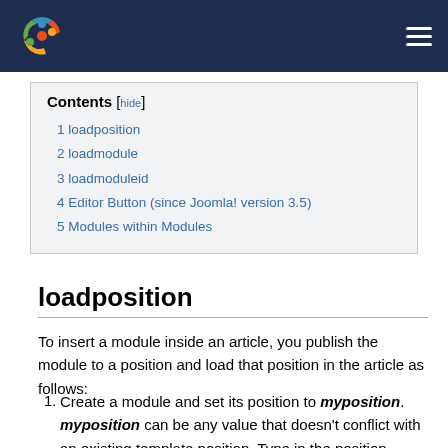Joomla navigation bar with logo and menu icon
| Contents |
| --- |
| 1 loadposition |
| 2 loadmodule |
| 3 loadmoduleid |
| 4 Editor Button (since Joomla! version 3.5) |
| 5 Modules within Modules |
loadposition
To insert a module inside an article, you publish the module to a position and load that position in the article as follows:
Create a module and set its position to myposition. myposition can be any value that doesn't conflict with an existing template position. Type in the position myposition and press enter instead of selecting it